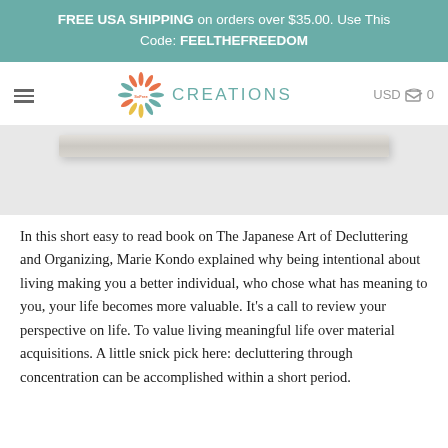FREE USA SHIPPING on orders over $35.00. Use This Code: FEELTHEFREEDOM
[Figure (logo): SoFree Creations logo with starburst icon and 'CREATIONS' text in teal, with USD cart icon showing 0 items, and hamburger menu]
[Figure (photo): Product photo showing a book spine/cover on light gray background]
In this short easy to read book on The Japanese Art of Decluttering and Organizing, Marie Kondo explained why being intentional about living making you a better individual, who chose what has meaning to you, your life becomes more valuable. It's a call to review your perspective on life. To value living meaningful life over material acquisitions. A little snick pick here: decluttering through concentration can be accomplished within a short period.